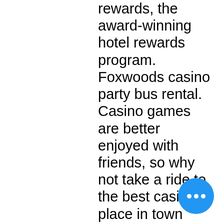rewards, the award-winning hotel rewards program. Foxwoods casino party bus rental. Casino games are better enjoyed with friends, so why not take a ride to the best casino place in town with your friends. Long island party guys is your go-to destination for tent rentals, bounce houses, water slides &amp; much more. Call us at 631-399-4386 to start booking!! Insider tells the global tech, finance, markets, media, healthcare, and strategy stories you want to know. We are the most professional provider of casino events on long island. New york casino parties - casino parties long island, ny. The track's interaction with the popular hotels and casinos can be reflected in f1's reported backing of the event, citing caesars entertainment. User: casino night rentals long island, casino night fundraiser flyer. Some of the many casino items available for rental from casino parties llc includes: tables; roulette wheels; poker tables;